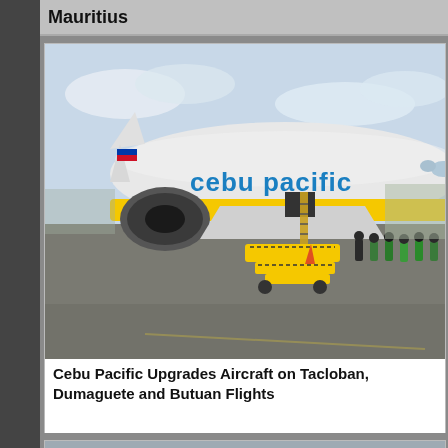Mauritius
[Figure (photo): Cebu Pacific aircraft on the tarmac with ground crew loading cargo via a yellow belt loader. The white and yellow Airbus bears the 'cebu pacific' livery in blue lettering.]
Cebu Pacific Upgrades Aircraft on Tacloban, Dumaguete and Butuan Flights
[Figure (photo): Partial view of another article image, mostly gray/blue sky tone, cut off at the bottom of the page.]